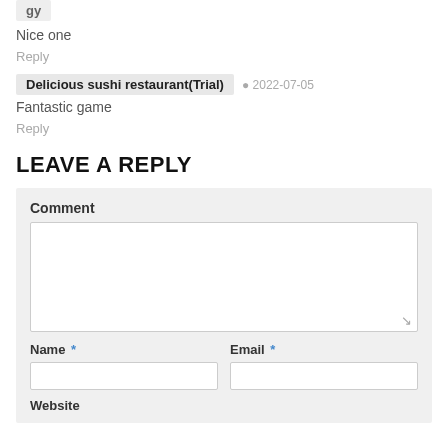Nice one
Reply
Delicious sushi restaurant(Trial)  2022-07-05
Fantastic game
Reply
LEAVE A REPLY
Comment
Name *
Email *
Website